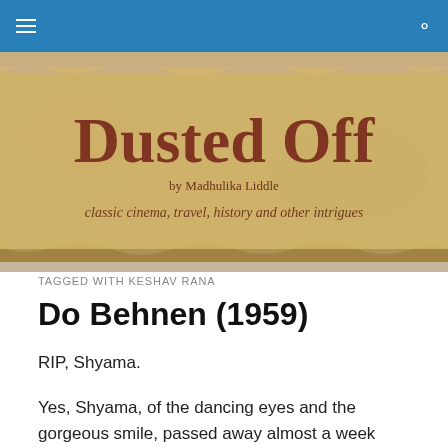[Figure (screenshot): Blue navigation bar with hamburger menu icon on left and search icon on right]
[Figure (illustration): Blog header banner showing torn paper texture in sandy/golden tones with 'Dusted Off' in dark red serif font, 'by Madhulika Liddle' in small text, and italic tagline 'classic cinema, travel, history and other intrigues']
TAGGED WITH KESHAV RANA
Do Behnen (1959)
RIP, Shyama.
Yes, Shyama, of the dancing eyes and the gorgeous smile, passed away almost a week ago, on November 14, 2017. I couldn't resist let the depth of my fora from